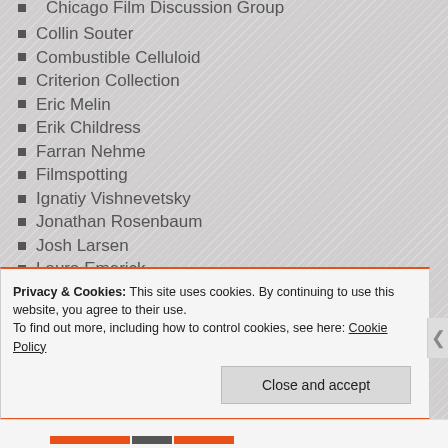Chicago Film Discussion Group
Collin Souter
Combustible Celluloid
Criterion Collection
Eric Melin
Erik Childress
Farran Nehme
Filmspotting
Ignatiy Vishnevetsky
Jonathan Rosenbaum
Josh Larsen
Laura Emerick
Mark Dujsik
Matt Pais
Michael Glover Smith
Michael Phillips
Privacy & Cookies: This site uses cookies. By continuing to use this website, you agree to their use.
To find out more, including how to control cookies, see here: Cookie Policy
Close and accept